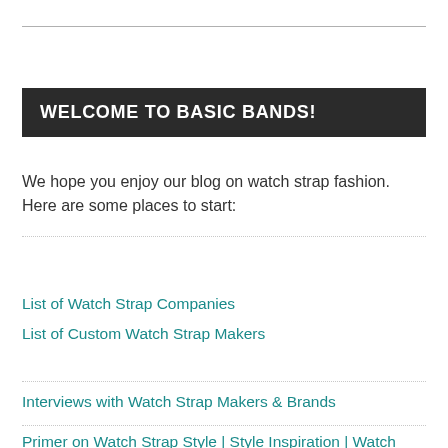WELCOME TO BASIC BANDS!
We hope you enjoy our blog on watch strap fashion. Here are some places to start:
List of Watch Strap Companies
List of Custom Watch Strap Makers
Interviews with Watch Strap Makers & Brands
Primer on Watch Strap Style | Style Inspiration | Watch